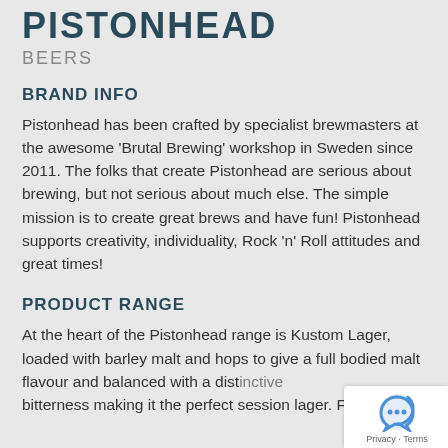PISTONHEAD
BEERS
BRAND INFO
Pistonhead has been crafted by specialist brewmasters at the awesome ‘Brutal Brewing’ workshop in Sweden since 2011. The folks that create Pistonhead are serious about brewing, but not serious about much else. The simple mission is to create great brews and have fun! Pistonhead supports creativity, individuality, Rock ‘n’ Roll attitudes and great times!
PRODUCT RANGE
At the heart of the Pistonhead range is Kustom Lager, loaded with barley malt and hops to give a full bodied malt flavour and balanced with a distinctive bitterness making it the perfect session lager. Fu…